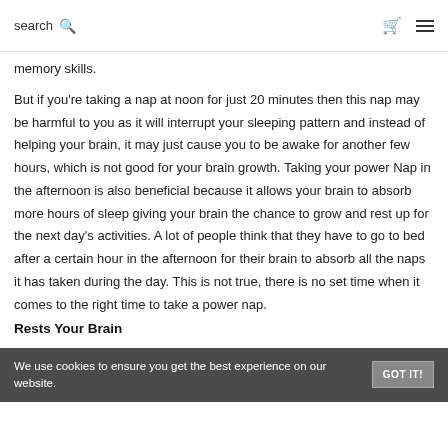search 🔍 🛒 ☰
memory skills.
But if you're taking a nap at noon for just 20 minutes then this nap may be harmful to you as it will interrupt your sleeping pattern and instead of helping your brain, it may just cause you to be awake for another few hours, which is not good for your brain growth. Taking your power Nap in the afternoon is also beneficial because it allows your brain to absorb more hours of sleep giving your brain the chance to grow and rest up for the next day's activities. A lot of people think that they have to go to bed after a certain hour in the afternoon for their brain to absorb all the naps it has taken during the day. This is not true, there is no set time when it comes to the right time to take a power nap.
Rests Your Brain
We use cookies to ensure you get the best experience on our website.